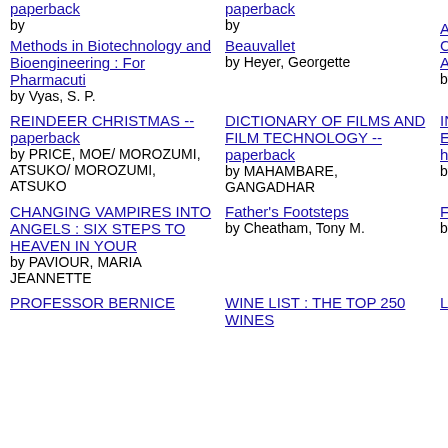paperback by Methods in Biotechnology and Bioengineering : For Pharmacuti by Vyas, S. P.
paperback by Beauvallet by Heyer, Georgette
A Love Supreme: The Creation of John Coltrane's Album. 260 by Kahn, Ashley
USING DREAM - BABA BOOKS by PENFO
REINDEER CHRISTMAS -- paperback by PRICE, MOE/ MOROZUMI, ATSUKO/ MOROZUMI, ATSUKO
DICTIONARY OF FILMS AND FILM TECHNOLOGY -- paperback by MAHAMBARE, GANGADHAR
INVENTIONS AND TRADE - EAST MEETS WEST -- hardback by REID, STRUAN
INTRO BUILDI OPERA paperba by SOUS
CHANGING VAMPIRES INTO ANGELS : SIX STEPS TO HEAVEN IN YOUR by PAVIOUR, MARIA JEANNETTE
Father's Footsteps by Cheatham, Tony M.
Father's Footsteps by Cheatham, Tony M.
The Sail of LA B Lake Er by Wagne Wagner, F Susan
PROFESSOR BERNICE
WINE LIST : THE TOP 250 WINES
LEAVING HOME
TELL M INFOST